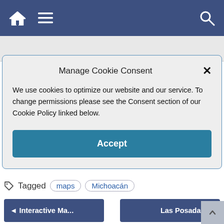Navigation bar with home, menu, and search icons
Manage Cookie Consent
We use cookies to optimize our website and our service. To change permissions please see the Consent section of our Cookie Policy linked below.
Accept
Tagged maps Michoacán
◄ Interactive Ma...
Las Posadas ►